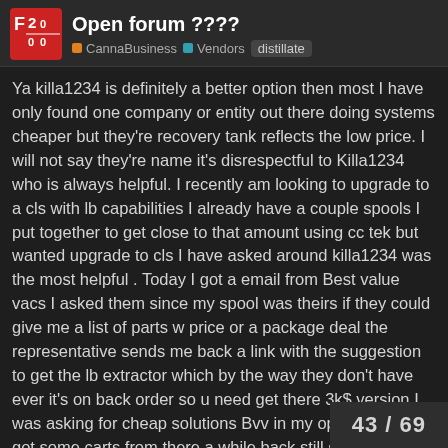Open forum ???? | CannaBusiness | Vendors | distillate
Ya killa1234 is definitely a better option then most I have only found one company or entity out there doing systems cheaper but they're recovery tank reflects the low price. I will not say they're name it's disrespectful to Killa1234 who is always helpful. I recently am looking to upgrade to a cls with lb capabilities I already have a couple spools I put together to get close to that amount using cc tek but wanted upgrade to cls I have asked around killa1234 was the most helpful . Today I got a email from Best value vacs I asked them since my spool was theirs if they could give me a list of parts w price or a package deal the representative sends me back a link with the suggestion to get the lb extractor which by the way they don't have ever it's on back order so u need get there 3k$ version I was asking for cheap solutions Bvv in my opinion sucks I got some carts from there a while back still sitting here never used 1.2 oil hole was garbage. Anyways my point is Killa1234 is the man … 😁😎
43 / 69